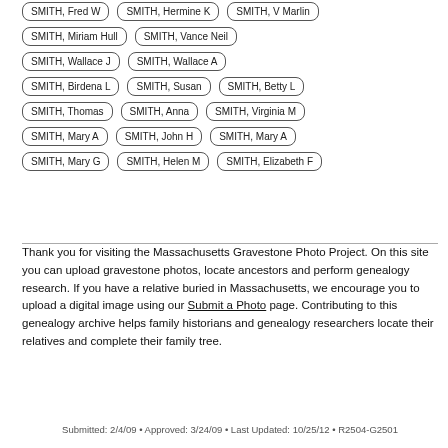SMITH, Fred W
SMITH, Hermine K
SMITH, V Marlin
SMITH, Miriam Hull
SMITH, Vance Neil
SMITH, Wallace J
SMITH, Wallace A
SMITH, Birdena L
SMITH, Susan
SMITH, Betty L
SMITH, Thomas
SMITH, Anna
SMITH, Virginia M
SMITH, Mary A
SMITH, John H
SMITH, Mary A
SMITH, Mary G
SMITH, Helen M
SMITH, Elizabeth F
Thank you for visiting the Massachusetts Gravestone Photo Project. On this site you can upload gravestone photos, locate ancestors and perform genealogy research. If you have a relative buried in Massachusetts, we encourage you to upload a digital image using our Submit a Photo page. Contributing to this genealogy archive helps family historians and genealogy researchers locate their relatives and complete their family tree.
Submitted: 2/4/09 • Approved: 3/24/09 • Last Updated: 10/25/12 • R2504-G2501